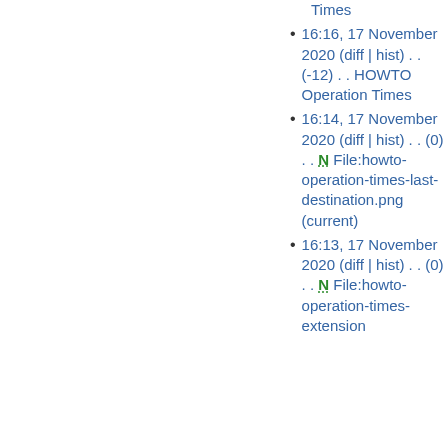Times (partial, top of page)
16:16, 17 November 2020 (diff | hist) . . (-12) . . HOWTO Operation Times
16:14, 17 November 2020 (diff | hist) . . (0) . . N File:howto-operation-times-last-destination.png (current)
16:13, 17 November 2020 (diff | hist) . . (0) . . N File:howto-operation-times-extension... (truncated)